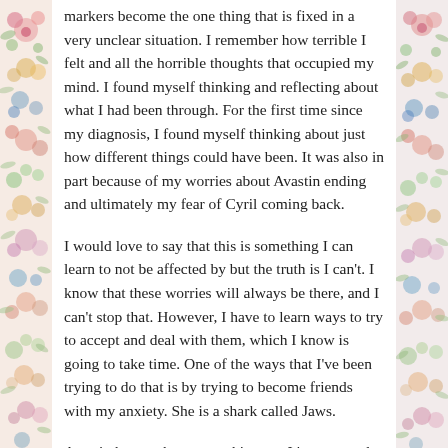markers become the one thing that is fixed in a very unclear situation. I remember how terrible I felt and all the horrible thoughts that occupied my mind. I found myself thinking and reflecting about what I had been through. For the first time since my diagnosis, I found myself thinking about just how different things could have been. It was also in part because of my worries about Avastin ending and ultimately my fear of Cyril coming back.
I would love to say that this is something I can learn to not be affected by but the truth is I can't. I know that these worries will always be there, and I can't stop that. However, I have to learn ways to try to accept and deal with them, which I know is going to take time. One of the ways that I've been trying to do that is by trying to become friends with my anxiety. She is a shark called Jaws.
Avastin has not been easy this year. It's not exactly a chemotherapy drug so the side effects are overall less